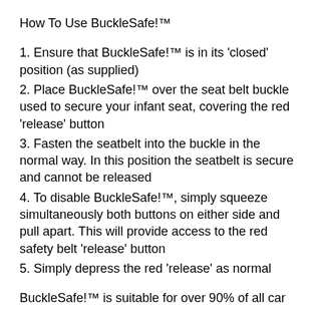How To Use BuckleSafe!™
1. Ensure that BuckleSafe!™ is in its 'closed' position (as supplied)
2. Place BuckleSafe!™ over the seat belt buckle used to secure your infant seat, covering the red 'release' button
3. Fasten the seatbelt into the buckle in the normal way. In this position the seatbelt is secure and cannot be released
4. To disable BuckleSafe!™, simply squeeze simultaneously both buttons on either side and pull apart. This will provide access to the red safety belt 'release' button
5. Simply depress the red 'release' as normal
BuckleSafe!™ is suitable for over 90% of all car